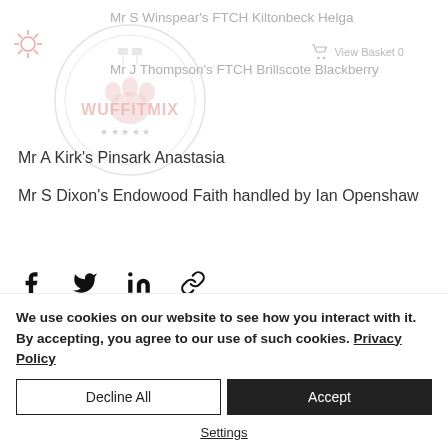Mr S Winspear's FTCH Kiltonbeck Helga
Mr J Thompson's FTCH Brillscote Blackberry
Mr A Kirk's Pinsark Anastasia
Mr S Dixon's Endowood Faith handled by Ian Openshaw
[Figure (logo): Circular watermark logo with paw print and text 'WUFFITMIX' overlaid on content]
We use cookies on our website to see how you interact with it. By accepting, you agree to our use of such cookies. Privacy Policy
Decline All
Accept
Settings